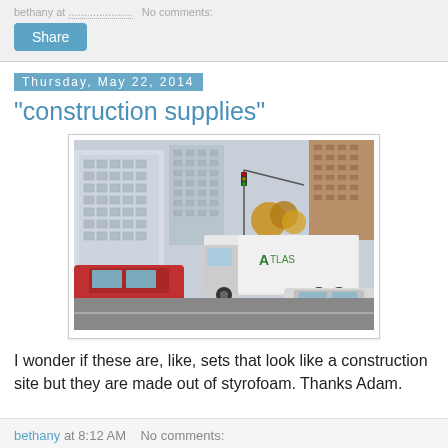bethany at .................... No comments:
Share
Thursday, May 22, 2014
"construction supplies"
[Figure (photo): Street scene with an Atlas commercial truck in city traffic, tall glass buildings visible in background, autumn trees, red SUV and silver car in foreground.]
I wonder if these are, like, sets that look like a construction site but they are made out of styrofoam. Thanks Adam.
bethany at 8:12 AM   No comments: